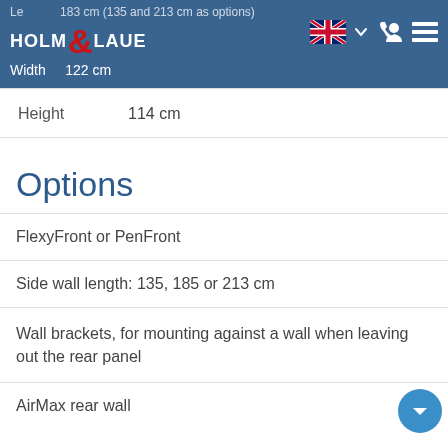Holm & Laue — Length 183 cm (135 and 213 cm as options), Width 122 cm
Height    114 cm
Options
FlexyFront or PenFront
Side wall length: 135, 185 or 213 cm
Wall brackets, for mounting against a wall when leaving out the rear panel
AirMax rear wall